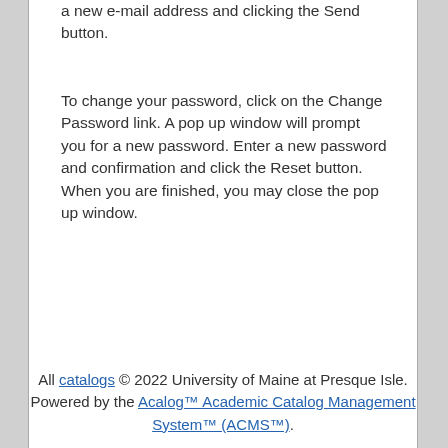a new e-mail address and clicking the Send button.
To change your password, click on the Change Password link. A pop up window will prompt you for a new password. Enter a new password and confirmation and click the Reset button. When you are finished, you may close the pop up window.
All catalogs © 2022 University of Maine at Presque Isle. Powered by the Acalog™ Academic Catalog Management System™ (ACMS™).